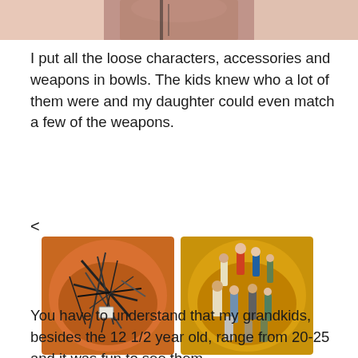[Figure (photo): Partial image at top of page showing a close-up, cropped view of a person's hand or skin with some items, fading into white]
I put all the loose characters, accessories and weapons in bowls. The kids knew who a lot of them were and my daughter could even match a few of the weapons.
<
[Figure (photo): Two photos side by side: left photo shows an orange bowl filled with various toy weapons and accessories; right photo shows a yellow bowl filled with toy action figures]
You have to understand that my grandkids, besides the 12 1/2 year old, range from 20-25 and it was fun to see them